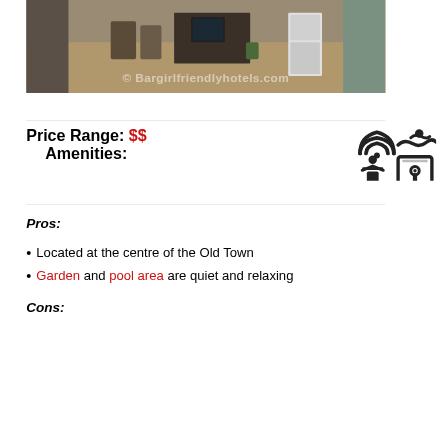[Figure (photo): Interior photo of a hotel room/lobby area with furniture, wooden floor, and watermark 'Bargirlfriendlyhotels.com']
Price Range: $$ Amenities:
[Figure (infographic): Amenity icons: WiFi, swimming, concierge/butler, luggage/safe]
Pros:
Located at the centre of the Old Town
Garden and pool area are quiet and relaxing
Cons: